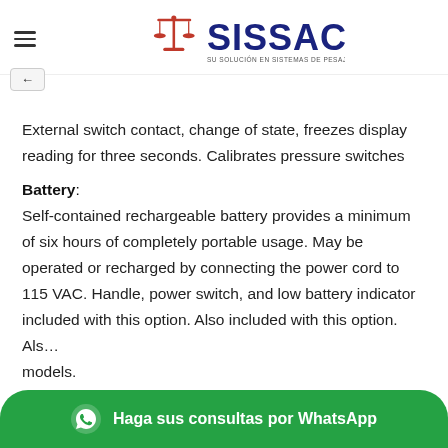[Figure (logo): SISSAC logo — red balance scale icon with the text SISSAC in bold dark blue, with tagline SU SOLUCIÓN EN SISTEMAS DE PESAJE Y AUTOMATIZACIÓN]
External switch contact, change of state, freezes display reading for three seconds. Calibrates pressure switches
Battery:
Self-contained rechargeable battery provides a minimum of six hours of completely portable usage. May be operated or recharged by connecting the power cord to 115 VAC. Handle, power switch, and low battery indicator included with this option. Also included with this option. Als… models.
[Figure (other): WhatsApp contact button — green rounded bar with WhatsApp icon and text: Haga sus consultas por WhatsApp]